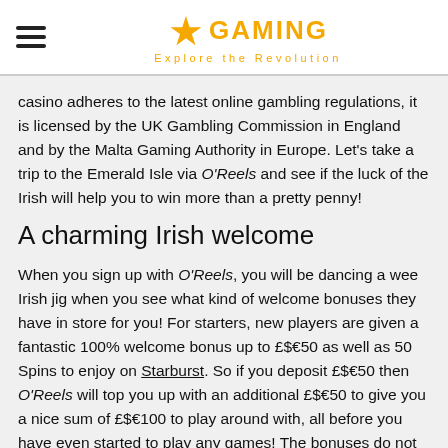GAMING Explore the Revolution
casino adheres to the latest online gambling regulations, it is licensed by the UK Gambling Commission in England and by the Malta Gaming Authority in Europe. Let's take a trip to the Emerald Isle via O'Reels and see if the luck of the Irish will help you to win more than a pretty penny!
A charming Irish welcome
When you sign up with O'Reels, you will be dancing a wee Irish jig when you see what kind of welcome bonuses they have in store for you! For starters, new players are given a fantastic 100% welcome bonus up to £$€50 as well as 50 Spins to enjoy on Starburst. So if you deposit £$€50 then O'Reels will top you up with an additional £$€50 to give you a nice sum of £$€100 to play around with, all before you have even started to play any games! The bonuses do not stop there as when you make a second deposit,